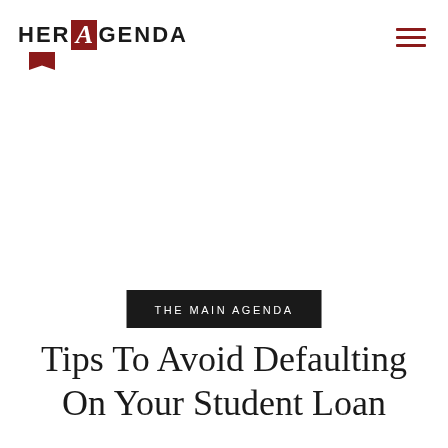HER AGENDA
THE MAIN AGENDA
Tips To Avoid Defaulting On Your Student Loan